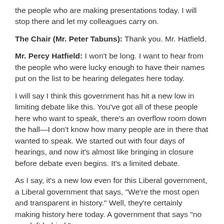the people who are making presentations today. I will stop there and let my colleagues carry on.
The Chair (Mr. Peter Tabuns): Thank you. Mr. Hatfield.
Mr. Percy Hatfield: I won't be long. I want to hear from the people who were lucky enough to have their names put on the list to be hearing delegates here today.
I will say I think this government has hit a new low in limiting debate like this. You've got all of these people here who want to speak, there's an overflow room down the hall—I don't know how many people are in there that wanted to speak. We started out with four days of hearings, and now it's almost like bringing in closure before debate even begins. It's a limited debate.
As I say, it's a new low even for this Liberal government, a Liberal government that says, "We're the most open and transparent in history." Well, they're certainly making history here today. A government that says "no one left behind,"